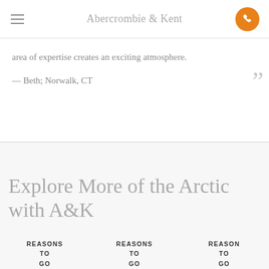Abercrombie & Kent
area of expertise creates an exciting atmosphere.
— Beth; Norwalk, CT
Explore More of the Arctic with A&K
REASONS TO GO
REASONS TO GO
REASONS TO GO